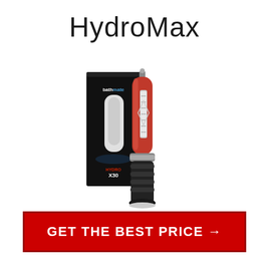HydroMax
[Figure (photo): Bathmate HydroMax X30 product photo showing a red/maroon colored hydro pump device next to its black product box. The box shows a clear version of the pump and is labeled 'bathmate HydroMax X30'. The device has a large cylindrical red transparent chamber with a black bellows base and silver accents.]
GET THE BEST PRICE →